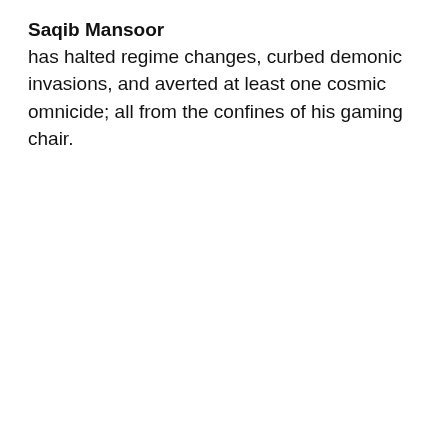Saqib Mansoor
has halted regime changes, curbed demonic invasions, and averted at least one cosmic omnicide; all from the confines of his gaming chair.